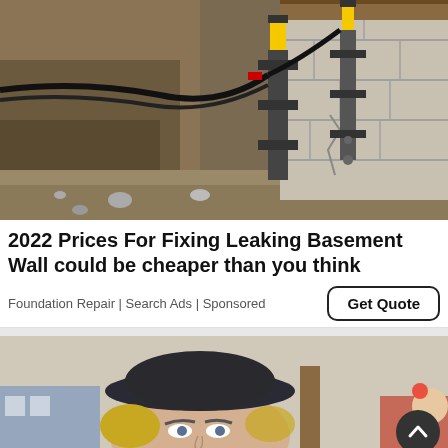[Figure (photo): Foundation repair work showing excavated earth next to a concrete block wall with metal helical pier brackets and yellow-capped anchors installed, with black hydraulic hoses running along the trench.]
2022 Prices For Fixing Leaking Basement Wall could be cheaper than you think
Foundation Repair | Search Ads | Sponsored
[Figure (photo): Close-up of a person wearing a dark hat with blonde hair visible, outdoors with blurred background of buildings and people.]